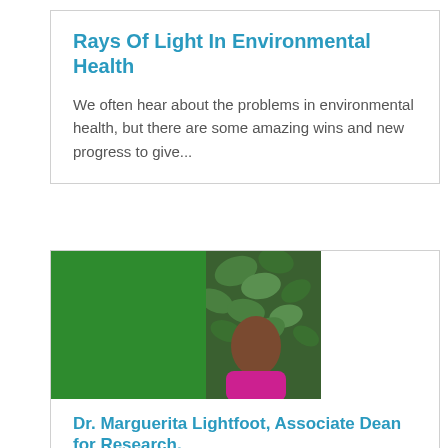Rays Of Light In Environmental Health
We often hear about the problems in environmental health, but there are some amazing wins and new progress to give...
[Figure (photo): Card with a green rectangle on the left and a partial photo of a person with plant foliage and pink clothing on the right]
Dr. Marguerita Lightfoot, Associate Dean for Research,